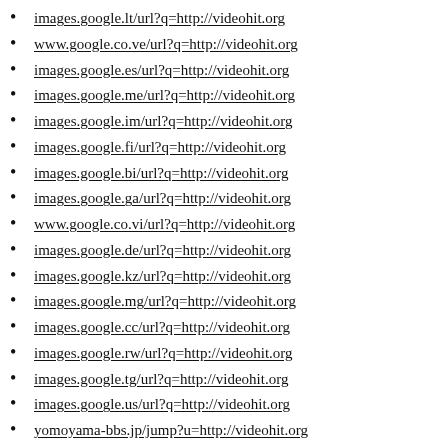images.google.lt/url?q=http://videohit.org
www.google.co.ve/url?q=http://videohit.org
images.google.es/url?q=http://videohit.org
images.google.me/url?q=http://videohit.org
images.google.im/url?q=http://videohit.org
images.google.fi/url?q=http://videohit.org
images.google.bi/url?q=http://videohit.org
images.google.ga/url?q=http://videohit.org
www.google.co.vi/url?q=http://videohit.org
images.google.de/url?q=http://videohit.org
images.google.kz/url?q=http://videohit.org
images.google.mg/url?q=http://videohit.org
images.google.cc/url?q=http://videohit.org
images.google.rw/url?q=http://videohit.org
images.google.tg/url?q=http://videohit.org
images.google.us/url?q=http://videohit.org
yomoyama-bbs.jp/jump?u=http://videohit.org
cse.google.co.ck/url?q=http://videohit.org
images.google.az/url?q=http://videohit.org